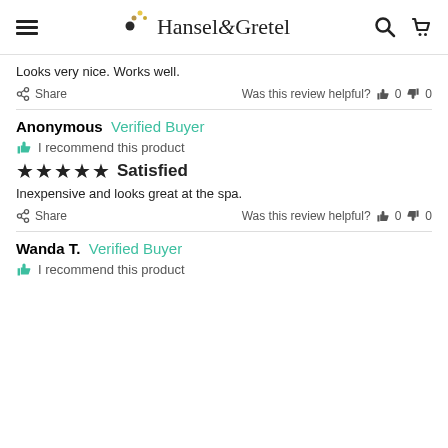Hansel & Gretel
Looks very nice. Works well.
Share   Was this review helpful?  👍 0  👎 0
Anonymous  Verified Buyer
I recommend this product
★★★★★  Satisfied
Inexpensive and looks great at the spa.
Share   Was this review helpful?  👍 0  👎 0
Wanda T.  Verified Buyer
I recommend this product